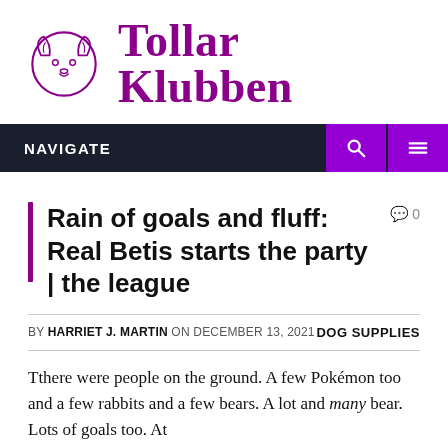[Figure (logo): Tollar Klubben logo: a dog face outline in purple next to the text 'Tollar Klubben' in large bold purple serif font]
NAVIGATE
Rain of goals and fluff: Real Betis starts the party | the league
BY HARRIET J. MARTIN ON DECEMBER 13, 2021   DOG SUPPLIES
Tthere were people on the ground. A few Pokémon too and a few rabbits and a few bears. A lot and many bear. Lots of goals too. At